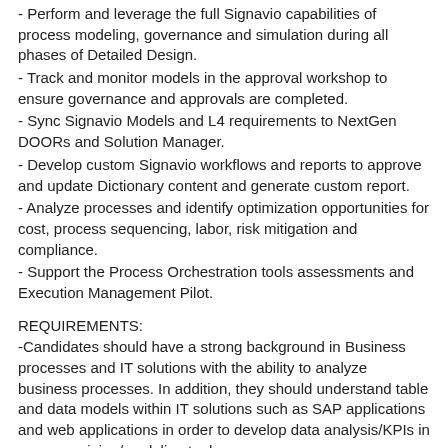- Perform and leverage the full Signavio capabilities of process modeling, governance and simulation during all phases of Detailed Design.
- Track and monitor models in the approval workshop to ensure governance and approvals are completed.
- Sync Signavio Models and L4 requirements to NextGen DOORs and Solution Manager.
- Develop custom Signavio workflows and reports to approve and update Dictionary content and generate custom report.
- Analyze processes and identify optimization opportunities for cost, process sequencing, labor, risk mitigation and compliance.
- Support the Process Orchestration tools assessments and Execution Management Pilot.
REQUIREMENTS:
-Candidates should have a strong background in Business processes and IT solutions with the ability to analyze business processes. In addition, they should understand table and data models within IT solutions such as SAP applications and web applications in order to develop data analysis/KPIs in process mining/modeling tools.
- Experience with Signavio Process Modeler (Process Manager